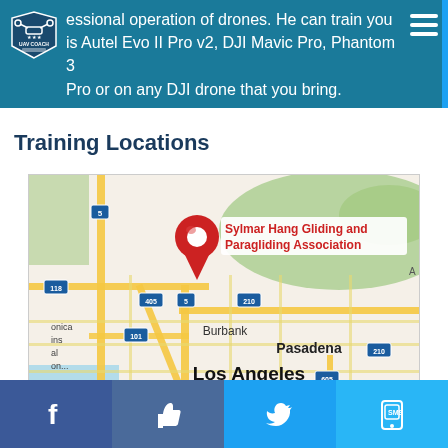...essional operation of drones. He can train you ...is Autel Evo II Pro v2, DJI Mavic Pro, Phantom 3 Pro or on any DJI drone that you bring.
Training Locations
[Figure (map): Google Maps screenshot showing Sylmar Hang Gliding and Paragliding Association location in Los Angeles area, with a red location pin marker. Shows freeways 5, 118, 405, 210, 101, 605 and cities including Burbank, Pasadena, Los Angeles.]
Social media links: Facebook, Like/Thumbs up, Twitter, SMS/Chat